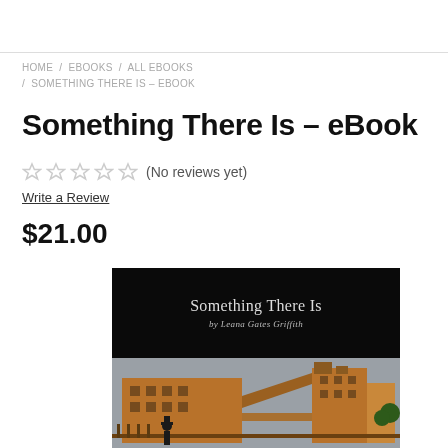HOME / EBOOKS / ALL EBOOKS / SOMETHING THERE IS – EBOOK
Something There Is – eBook
★★★★★ (No reviews yet)
Write a Review
$21.00
[Figure (illustration): Book cover for 'Something There Is' by Leana Gates Griffith. Top half is black with the title and author name in light gray serif text. Bottom half shows an illustration of a wooden industrial building complex with workers in the foreground against a gray sky.]